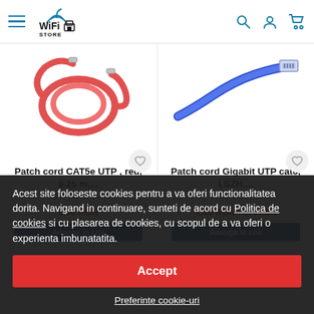WiFi Store navigation header with hamburger menu, logo, search, account, and cart icons
[Figure (photo): Red patch cord / ethernet cable coiled, product image]
[Figure (photo): Blue patch cord Gigabit ethernet cable with RJ45 connector, product image]
Patch cord CAT5e UTP , red, 0.25 m,...
Patch cord Gigabit UTP cat6, LSZH,...
PATCH CORD
PATCH CORD
3,50 RON
4,50 RON 3,76 RON
Adauga in cos
Adauga in cos
Acest site foloseste cookies pentru a va oferi functionalitatea dorita. Navigand in continuare, sunteti de acord cu Politica de cookies si cu plasarea de cookies, cu scopul de a va oferi o experienta imbunatatita.
Accept
Preferinte cookie-uri